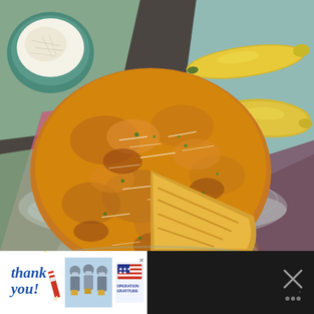[Figure (photo): Food photography showing a golden-brown baked frittata or casserole with yellow summer squash in a glass pie dish. The dish has a slice removed, revealing the interior. The food is garnished with grated cheese and chopped green herbs. Surrounding the dish are colorful cloth napkins (pink, green, purple), two whole yellow summer squash, and a teal bowl containing grated cheese. Background is a dark surface.]
[Figure (photo): Advertisement banner for Operation Gratitude. Shows handwritten-style 'Thank you!' text with a flag motif pencil, a photo of masked people holding small boxes, and the Operation Gratitude logo with stars and stripes. Dark background on sides with a close/X button on the right.]